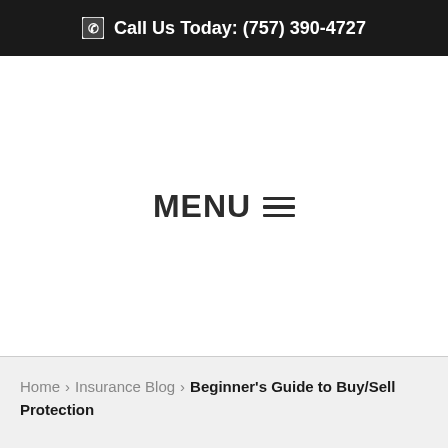Call Us Today: (757) 390-4727
MENU ☰
Home > Insurance Blog > Beginner's Guide to Buy/Sell Protection